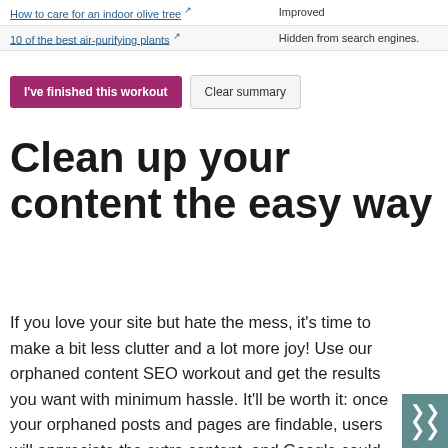|  |  |
| --- | --- |
| How to care for an indoor olive tree ↗ | Improved |
| 10 of the best air-purifying plants ↗ | Hidden from search engines. |
I've finished this workout   Clear summary
Clean up your content the easy way
If you love your site but hate the mess, it's time to make a bit less clutter and a lot more joy! Use our orphaned content SEO workout and get the results you want with minimum hassle. It'll be worth it: once your orphaned posts and pages are findable, users will appreciate the extra content, and Google could start ranking them too! You should do the orphaned